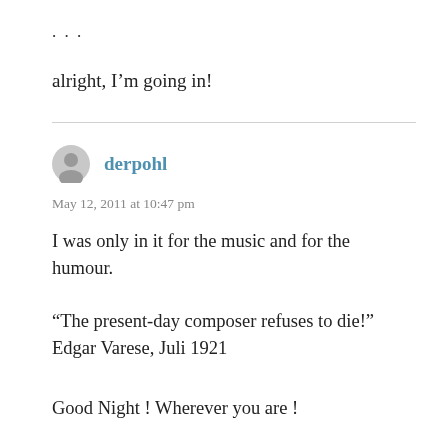…
alright, I'm going in!
derpohl
May 12, 2011 at 10:47 pm
I was only in it for the music and for the humour.
“The present-day composer refuses to die!” Edgar Varese, Juli 1921
Good Night ! Wherever you are !